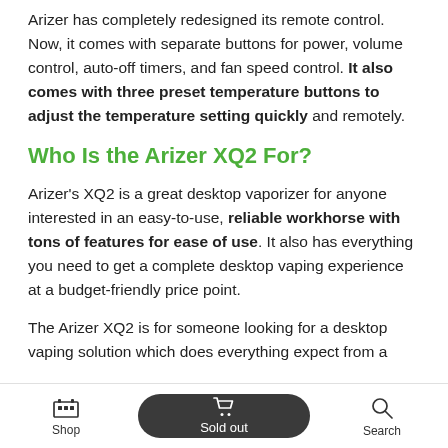Arizer has completely redesigned its remote control. Now, it comes with separate buttons for power, volume control, auto-off timers, and fan speed control. It also comes with three preset temperature buttons to adjust the temperature setting quickly and remotely.
Who Is the Arizer XQ2 For?
Arizer's XQ2 is a great desktop vaporizer for anyone interested in an easy-to-use, reliable workhorse with tons of features for ease of use. It also has everything you need to get a complete desktop vaping experience at a budget-friendly price point.
The Arizer XQ2 is for someone looking for a desktop vaping solution which does everything expect from a
Shop | Sold out | Search